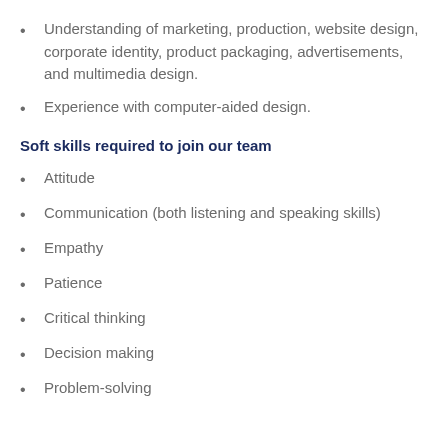Understanding of marketing, production, website design, corporate identity, product packaging, advertisements, and multimedia design.
Experience with computer-aided design.
Soft skills required to join our team
Attitude
Communication (both listening and speaking skills)
Empathy
Patience
Critical thinking
Decision making
Problem-solving